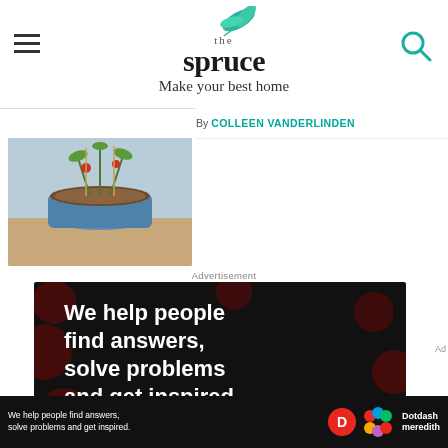the spruce — Make your best home
By COLLEEN VANDERLINDEN
[Figure (photo): Plant in a pot with wooden sticks, outdoors]
Advertisement
[Figure (infographic): Dotdash Meredith advertisement: We help people find answers, solve problems and get inspired. LEARN MORE. Black background with dark red polka dot circles.]
[Figure (infographic): Bottom bar: We help people find answers, solve problems and get inspired. Dotdash Meredith logo icons.]